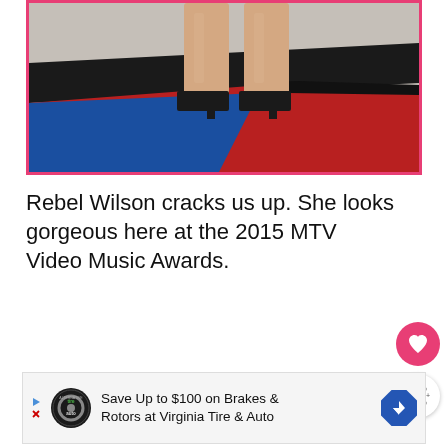[Figure (photo): Photo of a person's legs in black heels standing on a colorful red carpet (red, blue, black, grey/beige sections) at what appears to be a celebrity event]
Rebel Wilson cracks us up. She looks gorgeous here at the 2015 MTV Video Music Awards.
[Figure (other): Heart (like) button - pink circular button with heart icon]
[Figure (other): Share button - white circular button with share icon]
[Figure (other): Advertisement: Save Up to $100 on Brakes & Rotors at Virginia Tire & Auto with Tire Auto logo and navigation arrow sign]